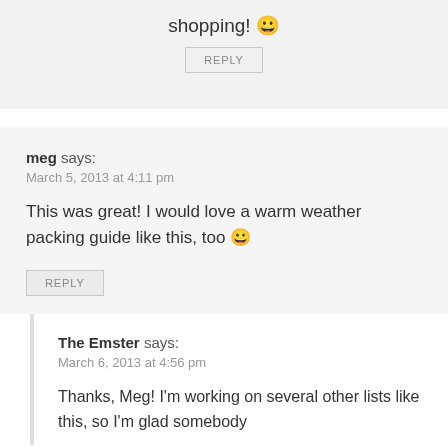shopping! 😀
REPLY
meg says:
March 5, 2013 at 4:11 pm
This was great! I would love a warm weather packing guide like this, too 😀
REPLY
The Emster says:
March 6, 2013 at 4:56 pm
Thanks, Meg! I'm working on several other lists like this, so I'm glad somebody